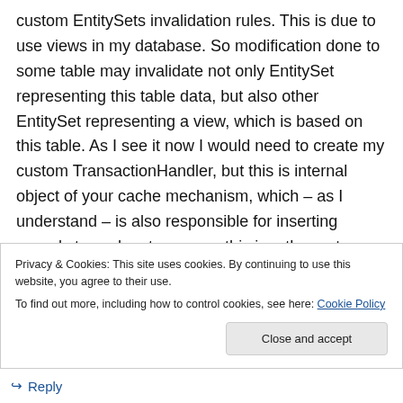custom EntitySets invalidation rules. This is due to use views in my database. So modification done to some table may invalidate not only EntitySet representing this table data, but also other EntitySet representing a view, which is based on this table. As I see it now I would need to create my custom TransactionHandler, but this is internal object of your cache mechanism, which – as I understand – is also responsible for inserting records to cache storage, so this is rather not a solution. May it be achieved easy?
Privacy & Cookies: This site uses cookies. By continuing to use this website, you agree to their use.
To find out more, including how to control cookies, see here: Cookie Policy
Reply